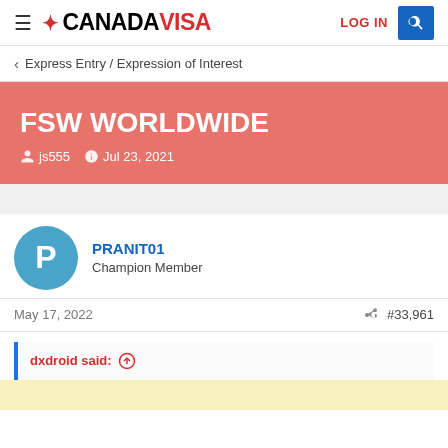CANADAVISA — LOG IN | Search
Express Entry / Expression of Interest
FSW WORLDWIDE
js555 · Jul 23, 2021
PRANIT01
Champion Member
May 17, 2022   #33,961
dxdroid said: